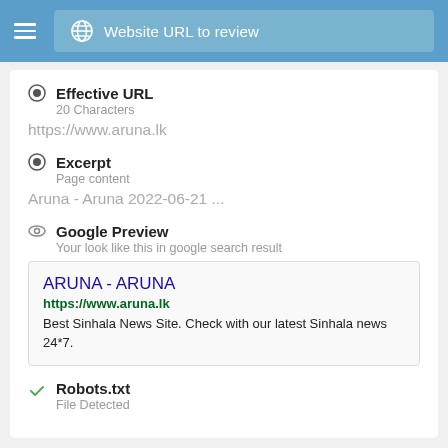Website URL to review
Effective URL
20 Characters
https://www.aruna.lk
Excerpt
Page content
Aruna - Aruna 2022-06-21 ...
Google Preview
Your look like this in google search result
[Figure (screenshot): Google search result preview box showing: title 'ARUNA - ARUNA' in blue, URL 'https://www.aruna.lk' in green, description 'Best Sinhala News Site. Check with our latest Sinhala news 24*7.']
Robots.txt
File Detected